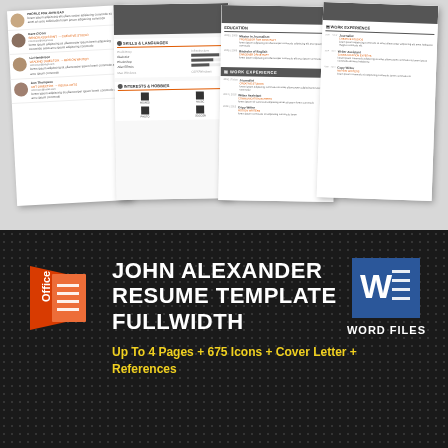[Figure (illustration): Preview of four resume template pages fanned out against grey background, showing references page with photos, skills & languages page, education page, and work experience page]
[Figure (infographic): Dark metallic dot-pattern banner with Microsoft Office logo (red/orange square), Word file badge (blue W icon), large white bold text: JOHN ALEXANDER RESUME TEMPLATE FULLWIDTH, yellow subtitle: Up To 4 Pages + 675 Icons + Cover Letter + References]
John Alexander Resume Template Fullwidth